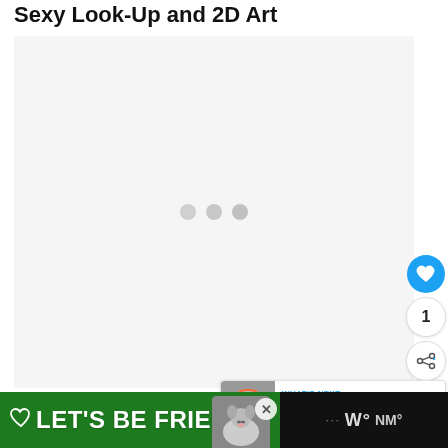Sexy Look-Up and 2D Art
[Figure (other): Loading placeholder area with three gray dots in a light gray content box]
[Figure (other): Social interaction panel with heart/like button (blue circle), count badge showing 1, and share button]
[Figure (other): What's Next panel with avatar thumbnail and text: WHAT'S NEXT → / So You Think / Katie Holme...]
[Figure (other): Bottom advertisement bar: green background with heart icon, LET'S BE FRIENDS text, dog photo, close (X) button, and dark right section with dots and NM° text]